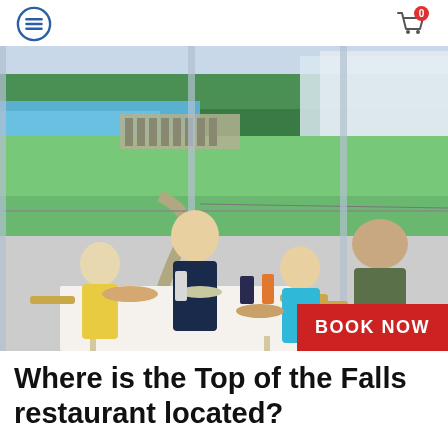navigation header with menu and cart icons
[Figure (photo): Family of four dining at a restaurant table with large floor-to-ceiling windows showing a panoramic view of Niagara Falls and surrounding green parkland. A woman with blonde hair, two children, and a bald man sit around a white table with food and drinks. A red 'BOOK NOW' button appears in the bottom right corner of the image.]
Where is the Top of the Falls restaurant located?